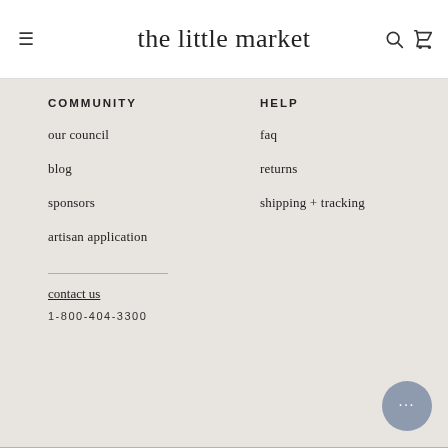the little market
COMMUNITY
HELP
our council
faq
blog
returns
sponsors
shipping + tracking
artisan application
contact us
1-800-404-3300